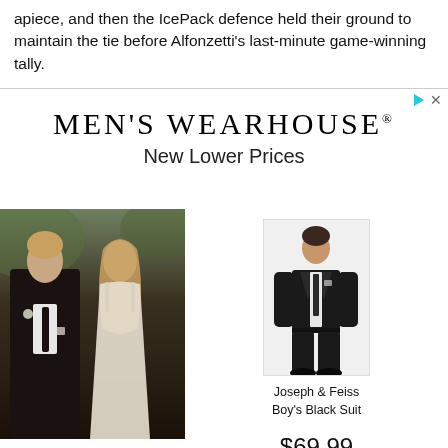apiece, and then the IcePack defence held their ground to maintain the tie before Alfonzetti's last-minute game-winning tally.
[Figure (advertisement): Men's Wearhouse advertisement showing brand name and 'New Lower Prices' tagline, a couple in wedding attire on the left, and a boy's black suit product with price $69.99 on the right. Text reads: Joseph & Feiss Boy's Black Suit $69.99]